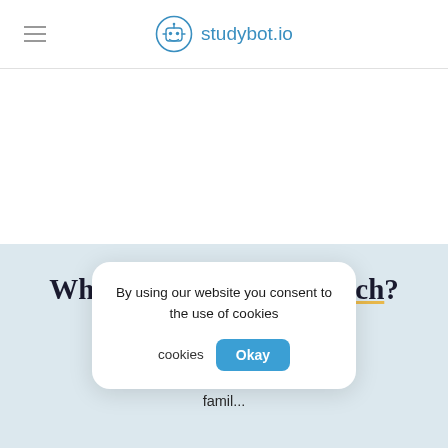studybot.io
What is an academic coach?
Stud... ards improv... ements traditional... as well as famil...
By using our website you consent to the use of cookies